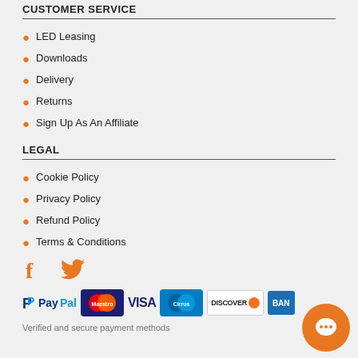CUSTOMER SERVICE
LED Leasing
Downloads
Delivery
Returns
Sign Up As An Affiliate
LEGAL
Cookie Policy
Privacy Policy
Refund Policy
Terms & Conditions
[Figure (logo): PayPal, Maestro, VISA, Cirrus, Discover, and bank payment logos with verified and secure payment methods caption]
Verified and secure payment methods